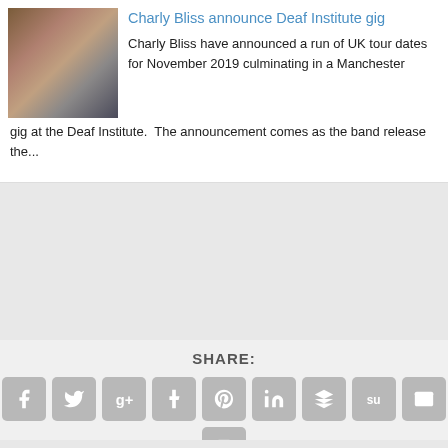[Figure (photo): Band photo of Charly Bliss, four members posing together]
Charly Bliss announce Deaf Institute gig
Charly Bliss have announced a run of UK tour dates for November 2019 culminating in a Manchester gig at the Deaf Institute.  The announcement comes as the band release the...
SHARE:
[Figure (infographic): Social share buttons: Facebook, Twitter, Google+, Tumblr, Pinterest, LinkedIn, Buffer, StumbleUpon, Email, Print]